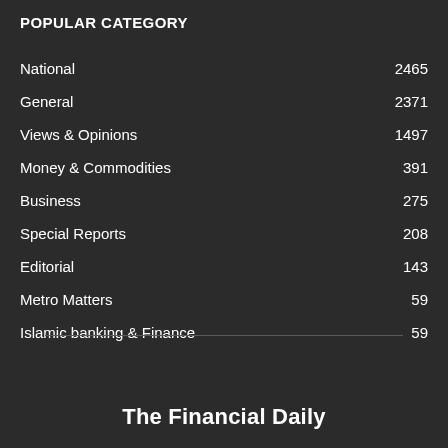POPULAR CATEGORY
National  2465
General  2371
Views & Opinions  1497
Money & Commodities  391
Business  275
Special Reports  208
Editorial  143
Metro Matters  59
Islamic banking & Finance  59
The Financial Daily